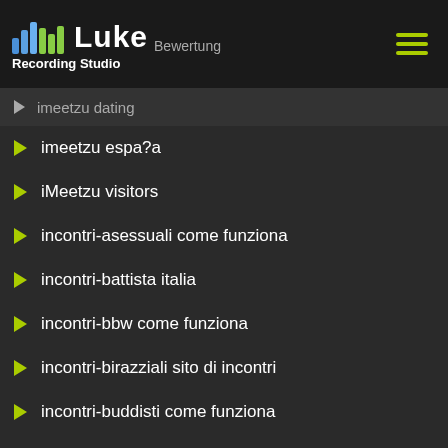iLove review — Luke Recording Studio — Bewertung
imeetzu dating
imeetzu espa?a
iMeetzu visitors
incontri-asessuali come funziona
incontri-battista italia
incontri-bbw come funziona
incontri-birazziali sito di incontri
incontri-buddisti come funziona
incontri-con-un-genitore-single funziona
incontri-country italia
incontri-country sito di incontri
incontri-crossdresser come funziona